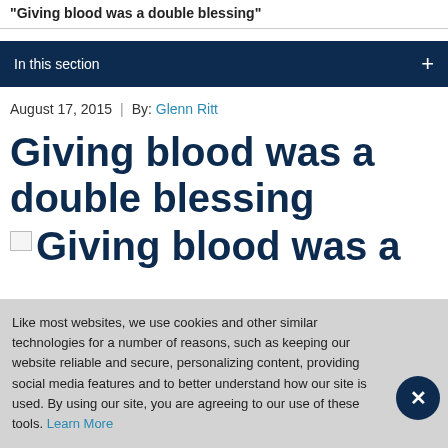Giving blood was a double blessing
In this section +
August 17, 2015  |  By: Glenn Ritt
Giving blood was a double blessing
Giving blood was a
Like most websites, we use cookies and other similar technologies for a number of reasons, such as keeping our website reliable and secure, personalizing content, providing social media features and to better understand how our site is used. By using our site, you are agreeing to our use of these tools. Learn More